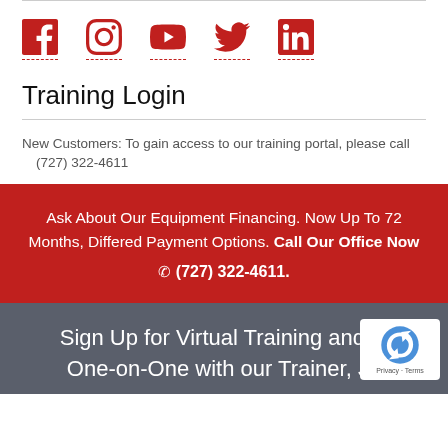[Figure (infographic): Social media icons row: Facebook, Instagram, YouTube, Twitter, LinkedIn — all in red with dashed underline]
Training Login
New Customers: To gain access to our training portal, please call
(727) 322-4611
Ask About Our Equipment Financing. Now Up To 72 Months, Differed Payment Options. Call Our Office Now ☎ (727) 322-4611.
Sign Up for Virtual Training and One-on-One with our Trainer, Ja... Specially Please Come into the F...